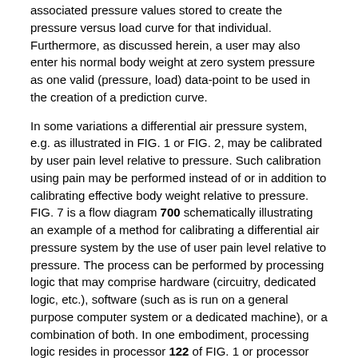associated pressure values stored to create the pressure versus load curve for that individual. Furthermore, as discussed herein, a user may also enter his normal body weight at zero system pressure as one valid (pressure, load) data-point to be used in the creation of a prediction curve.
In some variations a differential air pressure system, e.g. as illustrated in FIG. 1 or FIG. 2, may be calibrated by user pain level relative to pressure. Such calibration using pain may be performed instead of or in addition to calibrating effective body weight relative to pressure. FIG. 7 is a flow diagram 700 schematically illustrating an example of a method for calibrating a differential air pressure system by the use of user pain level relative to pressure. The process can be performed by processing logic that may comprise hardware (circuitry, dedicated logic, etc.), software (such as is run on a general purpose computer system or a dedicated machine), or a combination of both. In one embodiment, processing logic resides in processor 122 of FIG. 1 or processor 206 of FIG. 2.
Referring to FIG. 7, the process begins by processing logic adjusting system pressure (processing block 702). In one embodiment, system pressure of the bag is increased to a predetermined initial or threshold level, and then adjusted according to user pain as discussed below. In another embodiment, system pressure is increased from zero system pressure rather than from a predetermined initial or threshold level.
Data is received that indicates a user's current pain level (processing block